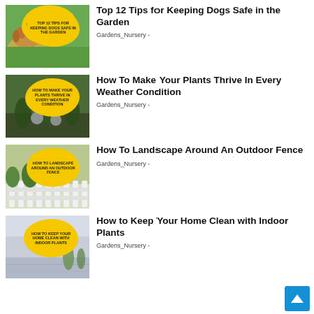[Figure (photo): Thumbnail image of a dog in a garden with a yellow sign overlay reading 'Top 12 Tips for Keeping Dogs Safe in the Garden']
Top 12 Tips for Keeping Dogs Safe in the Garden
Gardens_Nursery -
[Figure (photo): Thumbnail image of plants in soil with a yellow sign overlay reading 'How To Make Your Plants Thrive In Every Weather Condition']
How To Make Your Plants Thrive In Every Weather Condition
Gardens_Nursery -
[Figure (photo): Thumbnail image of a white fence with plants and a yellow sign overlay reading 'How To Landscape Around An Outdoor Fence']
How To Landscape Around An Outdoor Fence
Gardens_Nursery -
[Figure (photo): Thumbnail image of an indoor space with plants and a yellow sign overlay reading 'How To Keep Your Home Clean with Indoor Plants']
How to Keep Your Home Clean with Indoor Plants
Gardens_Nursery -